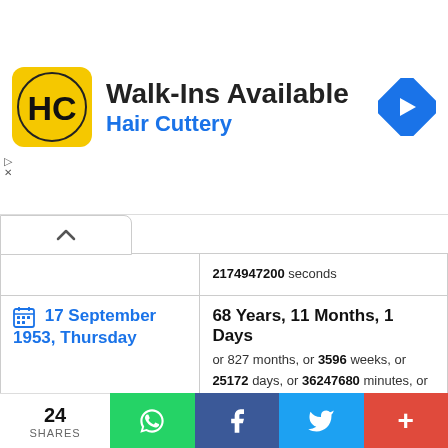[Figure (screenshot): Hair Cuttery advertisement banner with logo, Walk-Ins Available text, and navigation arrow icon]
| Date | Duration |
| --- | --- |
| 17 September 1953, Thursday | 68 Years, 11 Months, 1 Days — or 827 months, or 3596 weeks, or 25172 days, or 36247680 minutes, or 2174860800 seconds |
| 18 September 1953, Friday | 68 Years, 11 Months, 0 Days — or 827 months, or 3595 weeks, or 25171 days, or 36246240 minutes, or 2174774400 seconds |
| 19 September 1953, Saturday | 68 Years, 10 Months, 30 Days — or 826 months, or 3595 weeks, or 25170 days, or 36244800 minutes, or ... |
24 SHARES — WhatsApp, Facebook, Twitter, +